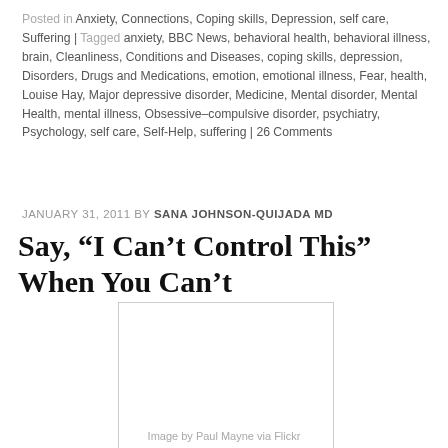Posted in Anxiety, Connections, Coping skills, Depression, self care, Suffering | Tagged anxiety, BBC News, behavioral health, behavioral illness, brain, Cleanliness, Conditions and Diseases, coping skills, depression, Disorders, Drugs and Medications, emotion, emotional illness, Fear, health, Louise Hay, Major depressive disorder, Medicine, Mental disorder, Mental Health, mental illness, Obsessive–compulsive disorder, psychiatry, Psychology, self care, Self-Help, suffering | 26 Comments
JANUARY 31, 2011 BY SANA JOHNSON-QUIJADA MD
Say, “I Can’t Control This” When You Can’t
[Figure (photo): A blank/white rectangular image placeholder with a light grey border, representing an embedded photo.]
Image by Paul Mayne via Flickr